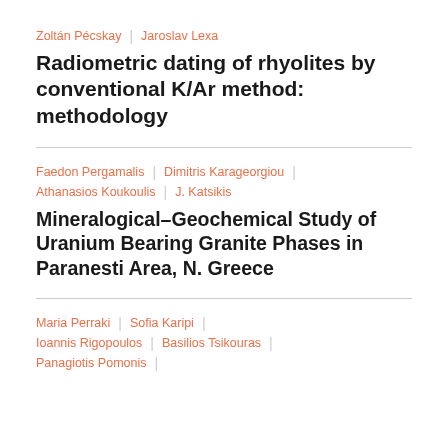Zoltán Pécskay | Jaroslav Lexa
Radiometric dating of rhyolites by conventional K/Ar method: methodology
Faedon Pergamalis | Dimitris Karageorgiou | Athanasios Koukoulis | J. Katsikis
Mineralogical–Geochemical Study of Uranium Bearing Granite Phases in Paranesti Area, N. Greece
Maria Perraki | Sofia Karipi | Ioannis Rigopoulos | Basilios Tsikouras | Panagiotis Pomonis